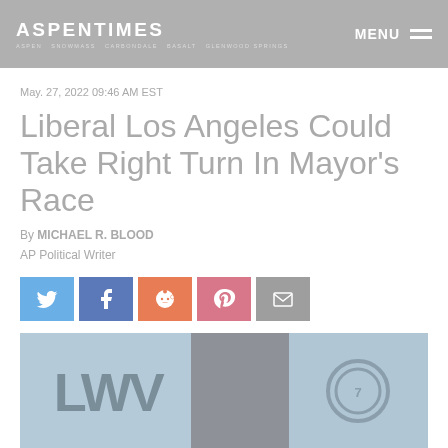ASPENTIMES — MENU
May. 27, 2022 09:46 AM EST
Liberal Los Angeles Could Take Right Turn In Mayor's Race
By MICHAEL R. BLOOD
AP Political Writer
[Figure (infographic): Social sharing buttons: Twitter (blue), Facebook (dark blue), Reddit (orange), Pinterest (pink/red), Email (gray)]
[Figure (photo): Photo showing LWV podium sign on the left, a speaker at a debate podium in the center, and a channel 7 logo on the right]